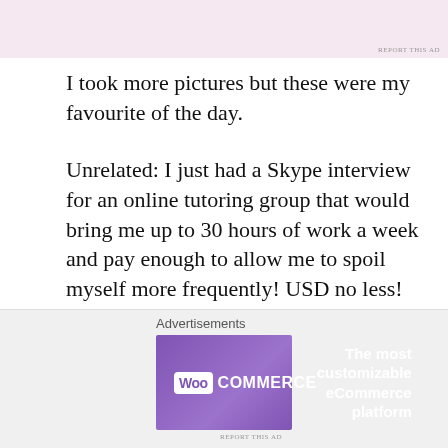[Figure (other): Top advertisement banner area with pink/lavender background, partially visible]
I took more pictures but these were my favourite of the day.
Unrelated: I just had a Skype interview for an online tutoring group that would bring me up to 30 hours of work a week and pay enough to allow me to spoil myself more frequently! USD no less! The woman doing my interview stopped the recording of the interview that needs to be sent to HR and then shouted, “OH MY GOD GIRL THAT WAS AMAZING! IF THEY DON’T HIRE YOU, AND I DON’T SEE WHY THEY
Advertisements
[Figure (other): WooCommerce advertisement banner with purple background. Logo on left reads 'Woo COMMERCE', tagline on right reads 'The most customizable eCommerce platform']